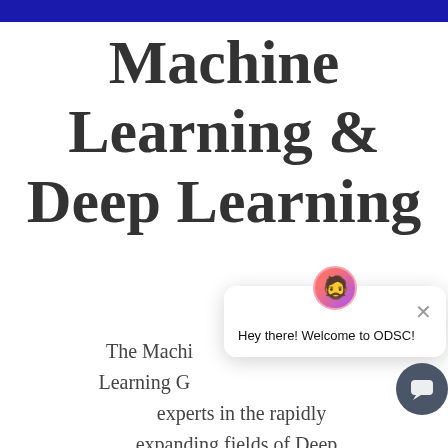Machine Learning & Deep Learning
The Machine Learning & Deep Learning Guide experts in the rapidly expanding fields of Deep Learning and Machine
[Figure (illustration): Chat popup overlay with avatar icon showing 'Hey there! Welcome to ODSC!' and a close button, plus a dark circular chat button in the bottom right.]